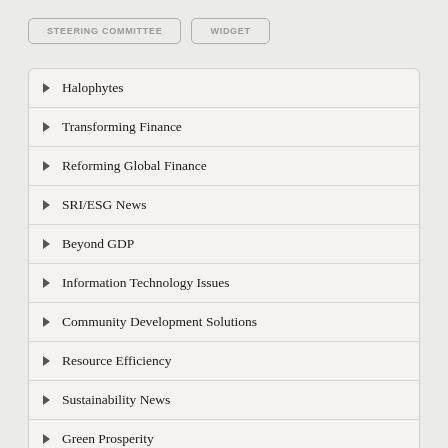STEERING COMMITTEE
WIDGET
Halophytes
Transforming Finance
Reforming Global Finance
SRI/ESG News
Beyond GDP
Information Technology Issues
Community Development Solutions
Resource Efficiency
Sustainability News
Green Prosperity
[partially visible item]